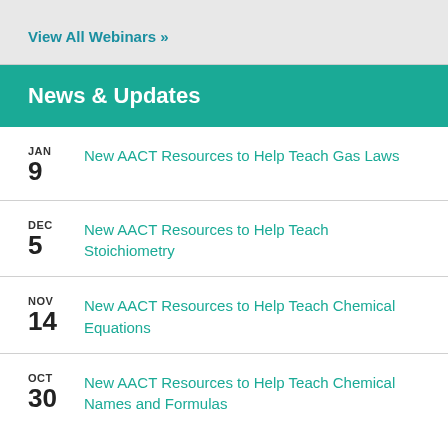View All Webinars »
News & Updates
JAN 9 — New AACT Resources to Help Teach Gas Laws
DEC 5 — New AACT Resources to Help Teach Stoichiometry
NOV 14 — New AACT Resources to Help Teach Chemical Equations
OCT 30 — New AACT Resources to Help Teach Chemical Names and Formulas